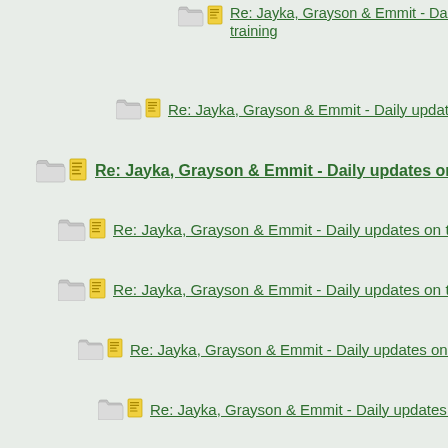Re: Jayka, Grayson & Emmit - Daily updates on training
Re: Jayka, Grayson & Emmit - Daily updates
Re: Jayka, Grayson & Emmit - Daily updates on training
Re: Jayka, Grayson & Emmit - Daily updates on training
Re: Jayka, Grayson & Emmit - Daily updates on training
Re: Jayka, Grayson & Emmit - Daily updates on training
Re: Jayka, Grayson & Emmit - Daily updates on training
Re: Jayka, Grayson & Emmit - Daily updates on training
Re: Jayka, Grayson & Emmit - Daily updates on
Re: Jayka, Grayson & Emmit - Daily updates on
Re: Jayka, Grayson & Emmit - Daily updates
Re: Jayka, Grayson & Emmit - Daily upda
Re: Jayka, Grayson & Emmit - Daily up
Re: Jayka, Grayson & Emmit - Daily
Re: Jayka, Grayson & Emmit - Dal
Re: Jayka, Grayson & Emmit - D
Re: Jayka, Grayson & Emmit